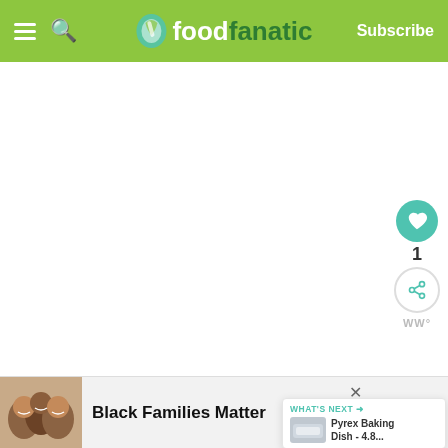foodfanatic — Subscribe
[Figure (screenshot): Large white/blank content area in the middle of the page]
[Figure (other): Floating action buttons: teal heart button with count '1', share button, ww logo]
Archives
[Figure (other): What's Next panel showing Pyrex Baking Dish - 4.8...]
August 2022   July 2022   June 2022   May 2022
[Figure (photo): Ad banner with photo of three smiling people and text 'Black Families Matter']